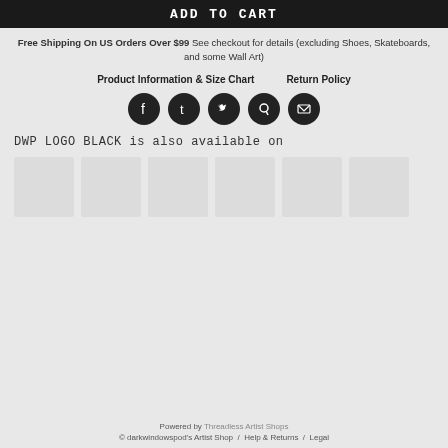[Figure (other): Black ADD TO CART button bar at top]
Free Shipping On US Orders Over $99 See checkout for details (excluding Shoes, Skateboards, and some Wall Art)
Product Information & Size Chart   Return Policy
[Figure (other): Social media icons: Facebook, Tumblr, Twitter, Pinterest, Email — dark circular buttons]
DWP LOGO BLACK is also available on
[Figure (other): Row of six product thumbnail images, gray placeholder boxes]
Powered by Threadless Artist Shops © darkwindowspod's Artist Shop / Help & Returns / Legal